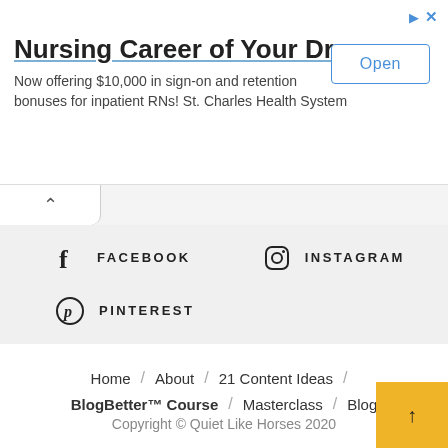[Figure (screenshot): Advertisement banner for nursing career at St. Charles Health System with Open button]
Nursing Career of Your Dreams
Now offering $10,000 in sign-on and retention bonuses for inpatient RNs! St. Charles Health System
FACEBOOK   INSTAGRAM
PINTEREST
Home / About / 21 Content Ideas / BlogBetter™ Course / Masterclass / Blog
Copyright © Quiet Like Horses 2020